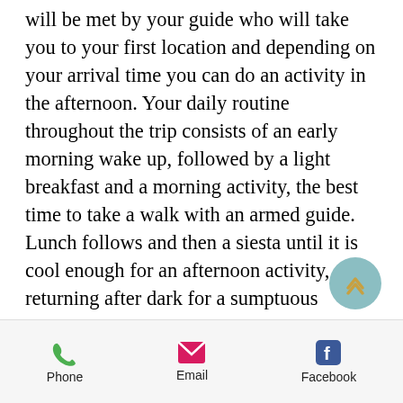will be met by your guide who will take you to your first location and depending on your arrival time you can do an activity in the afternoon. Your daily routine throughout the trip consists of an early morning wake up, followed by a light breakfast and a morning activity, the best time to take a walk with an armed guide. Lunch follows and then a siesta until it is cool enough for an afternoon activity, returning after dark for a sumptuous Dinner.
Phone  Email  Facebook